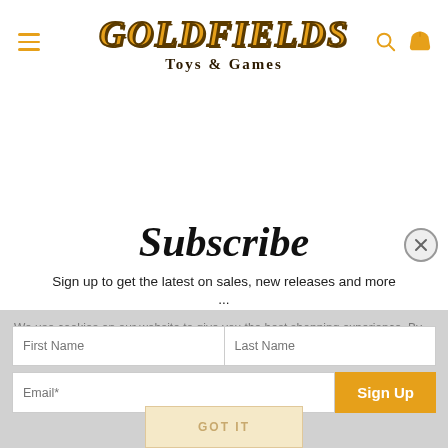[Figure (logo): Goldfields Toys & Games logo with golden stylized text and brown outline, subtitle 'Toys & Games' in dark serif font]
Subscribe
Sign up to get the latest on sales, new releases and more ...
We use cookies on our website to give you the best shopping experience. By using this site, you agree to its use of cookies.
First Name
Last Name
Email*
Sign Up
GOT IT